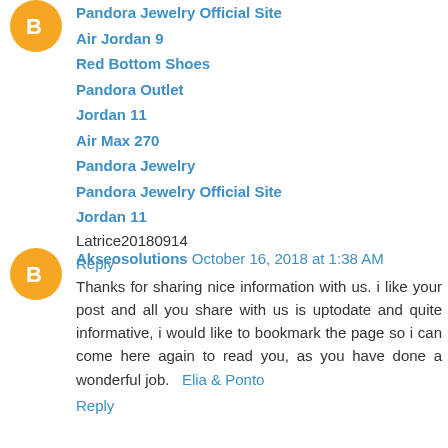[Figure (logo): Orange circle avatar with white blogger 'b' icon]
Pandora Jewelry Official Site
Air Jordan 9
Red Bottom Shoes
Pandora Outlet
Jordan 11
Air Max 270
Pandora Jewelry
Pandora Jewelry Official Site
Jordan 11
Latrice20180914
Reply
[Figure (logo): Orange circle avatar with white blogger 'b' icon]
Akseosolutions  October 16, 2018 at 1:38 AM
Thanks for sharing nice information with us. i like your post and all you share with us is uptodate and quite informative, i would like to bookmark the page so i can come here again to read you, as you have done a wonderful job.  Elia & Ponto
Reply